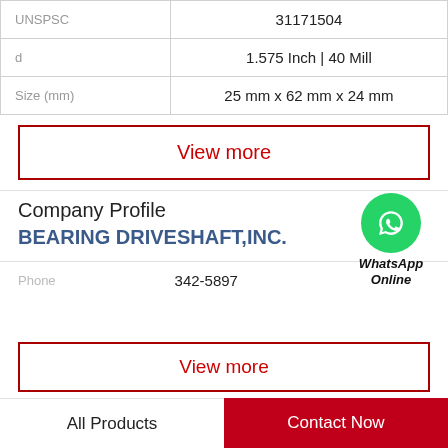| UNSPSC | 31171504 |
| d | 1.575 Inch | 40 Mill |
| Size (mm) | 25 mm x 62 mm x 24 mm |
View more
Company Profile
BEARING DRIVESHAFT,INC.
Phone  342-5897
View more
All Products   Contact Now